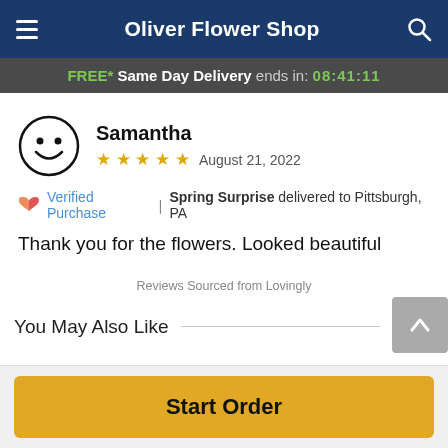Oliver Flower Shop
FREE* Same Day Delivery ends in: 08:41:11
Samantha
★★★★★ August 21, 2022
Verified Purchase | Spring Surprise delivered to Pittsburgh, PA
Thank you for the flowers. Looked beautiful
Reviews Sourced from Lovingly
You May Also Like
Start Order